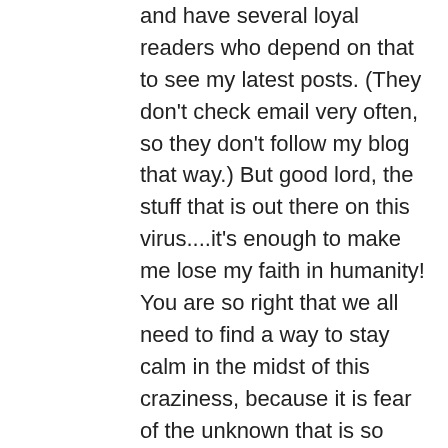and have several loyal readers who depend on that to see my latest posts. (They don't check email very often, so they don't follow my blog that way.) But good lord, the stuff that is out there on this virus....it's enough to make me lose my faith in humanity! You are so right that we all need to find a way to stay calm in the midst of this craziness, because it is fear of the unknown that is so very crippling. I've decided to be very mindful about how I act in the coming weeks, and what I allow myself to dwell on. And yes, finding a calming song does help! Thanks for sharing your article, so find